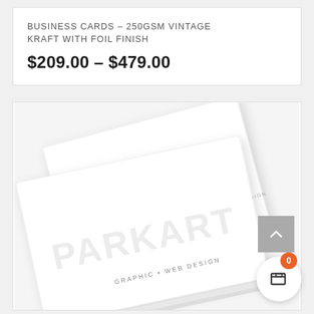BUSINESS CARDS – 250GSM VINTAGE KRAFT WITH FOIL FINISH
$209.00 – $479.00
[Figure (photo): Product photo showing two white business cards with foil embossed 'PARKART GRAPHIC + WEB DESIGN' text, stacked at an angle on a white background]